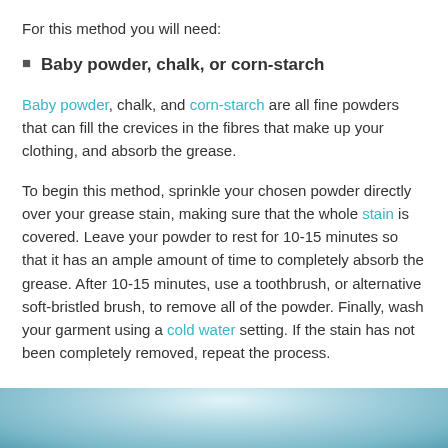For this method you will need:
Baby powder, chalk, or corn-starch
Baby powder, chalk, and corn-starch are all fine powders that can fill the crevices in the fibres that make up your clothing, and absorb the grease.
To begin this method, sprinkle your chosen powder directly over your grease stain, making sure that the whole stain is covered. Leave your powder to rest for 10-15 minutes so that it has an ample amount of time to completely absorb the grease. After 10-15 minutes, use a toothbrush, or alternative soft-bristled brush, to remove all of the powder. Finally, wash your garment using a cold water setting. If the stain has not been completely removed, repeat the process.
[Figure (photo): Close-up photo of a garment fabric, blurred background with light blue/white tones visible at the bottom of the page]